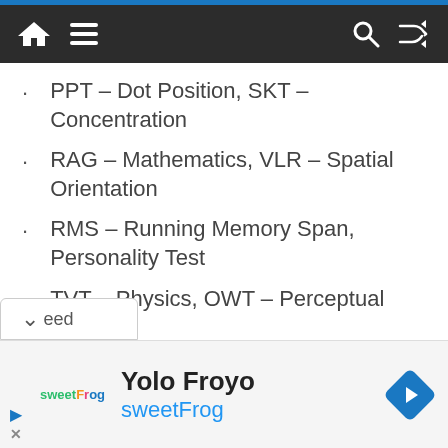Navigation bar with home, menu, search, shuffle icons
PPT – Dot Position, SKT – Concentration
RAG – Mathematics, VLR – Spatial Orientation
RMS – Running Memory Span, Personality Test
TVT – Physics, OWT – Perceptual Speed
Yolo Froyo
sweetFrog